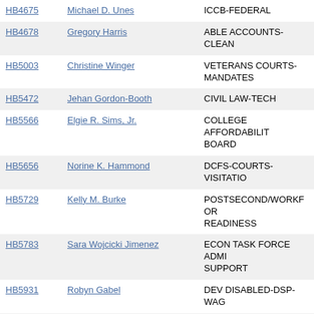| Bill | Sponsor | Subject |
| --- | --- | --- |
| HB4675 | Michael D. Unes | ICCB-FEDERAL |
| HB4678 | Gregory Harris | ABLE ACCOUNTS-CLEAN |
| HB5003 | Christine Winger | VETERANS COURTS-MANDATES |
| HB5472 | Jehan Gordon-Booth | CIVIL LAW-TECH |
| HB5566 | Elgie R. Sims, Jr. | COLLEGE AFFORDABILITY BOARD |
| HB5656 | Norine K. Hammond | DCFS-COURTS-VISITATION |
| HB5729 | Kelly M. Burke | POSTSECOND/WORKFORCE READINESS |
| HB5783 | Sara Wojcicki Jimenez | ECON TASK FORCE ADMIN SUPPORT |
| HB5931 | Robyn Gabel | DEV DISABLED-DSP-WAGE |
| HB5973 | Marcus C. Evans, Jr. | OCCUPATION LIC-CRIM CONVICTION |
| HB6006 | John C. D'Amico | VEH CD-DISABLED VEHICLES |
| HB6009 | Chad Hays | BD HIGHER ED-ILL COM C BD |
| HB6037 | Pamela Reaves-Harris | CD CORR-MITIGATION-MENTAL ILL |
| HB6069 | Kathleen Willis | CREDIT FOR PRIOR LEARNING |
| HB6162 | Andrew F Skoog | EMPLOYEE SICK LEAVE A |
| HB6200 | Carol Ammons | CD CORR-INMATE CALLS NO COMMIS |
| HB???? |  | MEDICAID-PROVIDER |